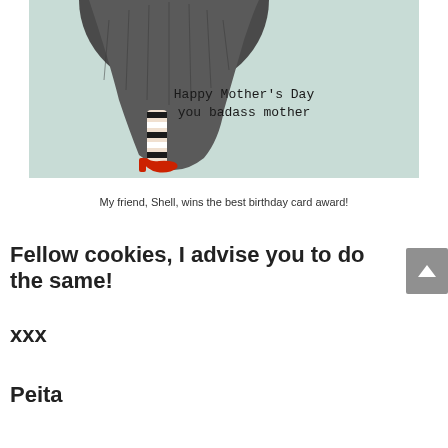[Figure (illustration): A greeting card illustration on light mint/pale green background showing the lower body of a woman wearing a striped black and white stocking on one leg and a red high-heeled shoe, with a dark grey skirt. Text on the card reads: Happy Mother's Day you badass mother]
My friend, Shell, wins the best birthday card award!
Fellow cookies, I advise you to do the same!
xxx
Peita